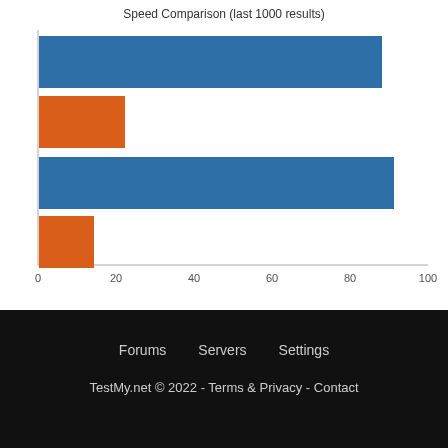[Figure (bar-chart): Speed Comparison (last 1000 results)]
Forums   Servers   Settings
TestMy.net © 2022 - Terms & Privacy - Contact